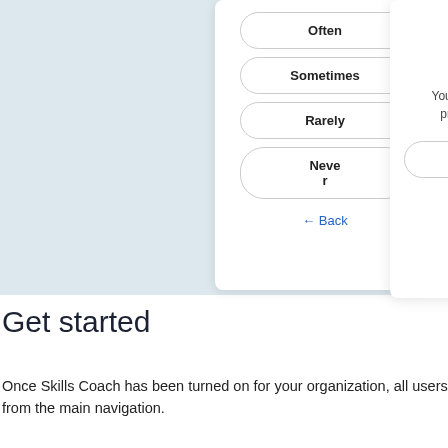[Figure (screenshot): App UI screenshot showing a Skills Coach activity with frequency options (Often, Sometimes, Rarely, Never) and a completion panel showing 'Great job – you finished day 2', Day 2 of 20, and View progress button]
Get started
Once Skills Coach has been turned on for your organization, all users from the main navigation.